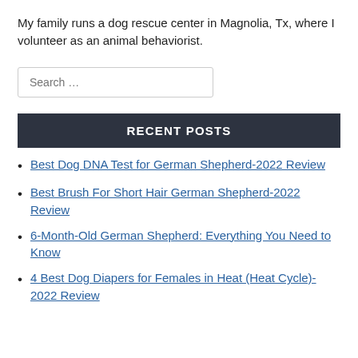My family runs a dog rescue center in Magnolia, Tx, where I volunteer as an animal behaviorist.
RECENT POSTS
Best Dog DNA Test for German Shepherd-2022 Review
Best Brush For Short Hair German Shepherd-2022 Review
6-Month-Old German Shepherd: Everything You Need to Know
4 Best Dog Diapers for Females in Heat (Heat Cycle)- 2022 Review